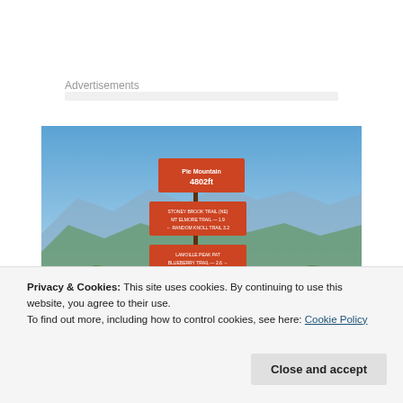Advertisements
[Figure (photo): A mountain summit sign showing elevation 4802ft with trail distances, set against blue sky and mountain ridgeline panorama.]
Privacy & Cookies: This site uses cookies. By continuing to use this website, you agree to their use.
To find out more, including how to control cookies, see here: Cookie Policy